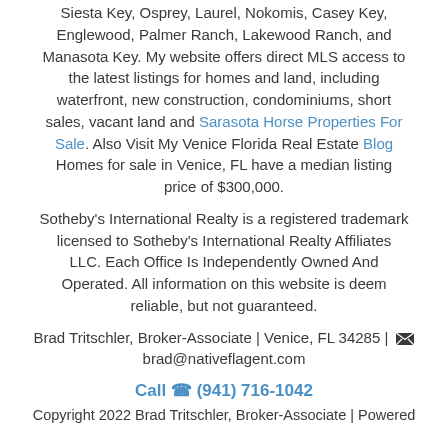Siesta Key, Osprey, Laurel, Nokomis, Casey Key, Englewood, Palmer Ranch, Lakewood Ranch, and Manasota Key. My website offers direct MLS access to the latest listings for homes and land, including waterfront, new construction, condominiums, short sales, vacant land and Sarasota Horse Properties For Sale. Also Visit My Venice Florida Real Estate Blog Homes for sale in Venice, FL have a median listing price of $300,000.
Sotheby's International Realty is a registered trademark licensed to Sotheby's International Realty Affiliates LLC. Each Office Is Independently Owned And Operated. All information on this website is deem reliable, but not guaranteed.
Brad Tritschler, Broker-Associate | Venice, FL 34285 | [envelope] brad@nativeflagent.com
Call (941) 716-1042
Copyright 2022 Brad Tritschler, Broker-Associate | Powered